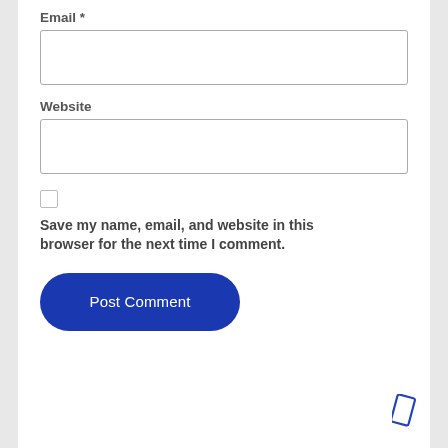Email *
[Figure (other): Empty text input box for Email]
Website
[Figure (other): Empty text input box for Website]
[Figure (other): Unchecked checkbox]
Save my name, email, and website in this browser for the next time I comment.
[Figure (other): Post Comment button (blue rounded rectangle)]
[Figure (other): Small blue rotated rectangle icon in bottom-right corner]